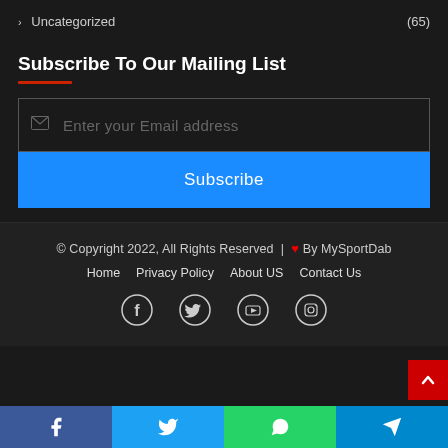> Uncategorized (65)
Subscribe To Our Mailing List
Enter your Email address
Subscribe
© Copyright 2022, All Rights Reserved | ❤ By MySportDab
Home  Privacy Policy  About US  Contact Us
[Figure (infographic): Social media icons row: Facebook, Twitter, YouTube, Instagram]
[Figure (infographic): Bottom share bar with Facebook, Twitter, WhatsApp, Telegram icons]